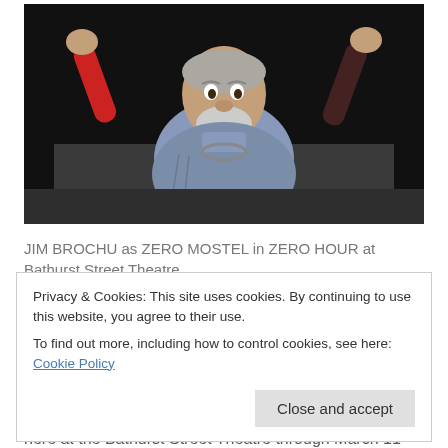[Figure (photo): A large man in a blue shirt with arms raised dramatically, white/grey beard and hair, performing on stage against a dark background. Red sleeves visible on raised arms.]
JIM BROCHU as ZERO MOSTEL in ZERO HOUR at Bathurst Street Theatre
Privacy & Cookies: This site uses cookies. By continuing to use this website, you agree to their use. To find out more, including how to control cookies, see here: Cookie Policy
here at the Bathurst Street Theatre through March 11